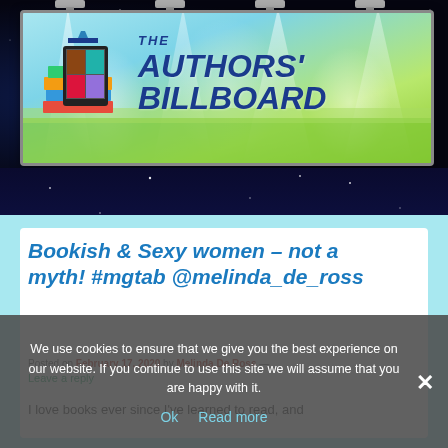[Figure (logo): The Authors' Billboard logo/banner — a billboard with spotlights on a dark starry background, featuring a stack of books with a tablet on the left and the text 'THE AUTHORS' BILLBOARD' in bold dark blue italic text]
Bookish & Sexy women – not a myth! #mgtab @melinda_de_ross
Posted on February 17, 2020 by Melinda De Ross — Leave a reply
We use cookies to ensure that we give you the best experience on our website. If you continue to use this site we will assume that you are happy with it.
I love books ever since I've learned to read, and